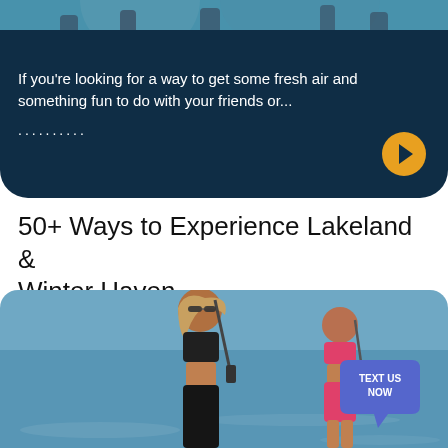[Figure (photo): People at a water activity area, dark navy card background with rounded bottom corners]
If you're looking for a way to get some fresh air and something fun to do with your friends or...
..........
50+ Ways to Experience Lakeland & Winter Haven
[Figure (photo): Two women paddleboarding on a lake; one in black bikini with sunglasses, one in pink bikini. Blue water background. TEXT US NOW bubble in bottom right.]